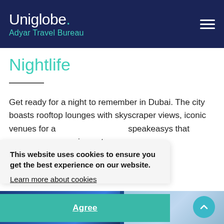Uniglobe. Adyar Travel Bureau
Nightlife
Get ready for a night to remember in Dubai. The city boasts rooftop lounges with skyscraper views, iconic venues for a ... speakeasys that ... ainment.
This website uses cookies to ensure you get the best experience on our website. Learn more about cookies
Agree
[Figure (photo): Bottom strip showing nightlife venue photo on left and people photo on right]